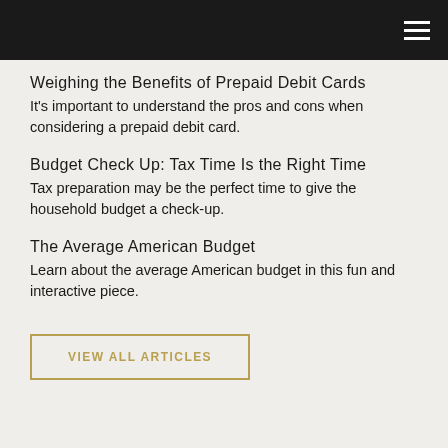Weighing the Benefits of Prepaid Debit Cards
It's important to understand the pros and cons when considering a prepaid debit card.
Budget Check Up: Tax Time Is the Right Time
Tax preparation may be the perfect time to give the household budget a check-up.
The Average American Budget
Learn about the average American budget in this fun and interactive piece.
VIEW ALL ARTICLES